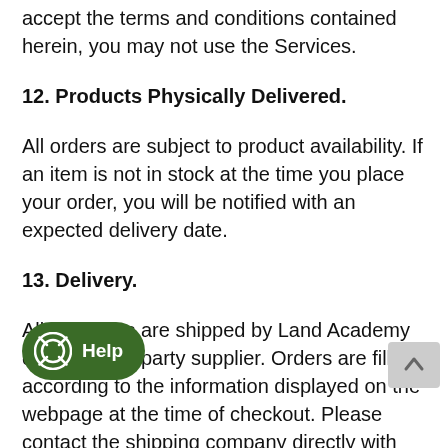accept the terms and conditions contained herein, you may not use the Services.
12. Products Physically Delivered.
All orders are subject to product availability. If an item is not in stock at the time you place your order, you will be notified with an expected delivery date.
13. Delivery.
All packages are shipped by Land Academy or other third party supplier. Orders are filled according to the information displayed on the webpage at the time of checkout. Please contact the shipping company directly with any tracking-related questions. An email